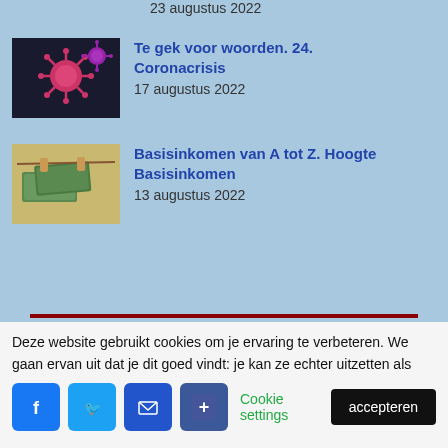23 augustus 2022
[Figure (photo): Coronavirus particles on dark background]
Te gek voor woorden. 24. Coronacrisis
17 augustus 2022
[Figure (photo): Euro banknotes hanging on a line]
Basisinkomen van A tot Z. Hoogte Basisinkomen
13 augustus 2022
Deze website gebruikt cookies om je ervaring te verbeteren. We gaan ervan uit dat je dit goed vindt: je kan ze echter uitzetten als